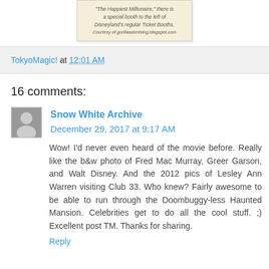[Figure (photo): A cropped image of an old ticket or sign mentioning 'The Happiest Millionaire' and a special booth to the left of Disneyland's regular Ticket Booths. Courtesy of gorillasdontsing.blogspot.com]
TokyoMagic! at 12:01 AM
16 comments:
Snow White Archive  December 29, 2017 at 9:17 AM
Wow! I'd never even heard of the movie before. Really like the b&w photo of Fred Mac Murray, Greer Garson, and Walt Disney. And the 2012 pics of Lesley Ann Warren visiting Club 33. Who knew? Fairly awesome to be able to run through the Doombuggy-less Haunted Mansion. Celebrities get to do all the cool stuff. ;) Excellent post TM. Thanks for sharing.
Reply